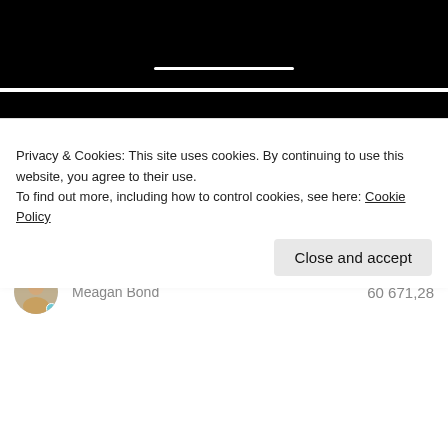[Figure (screenshot): Black navigation bar with white horizontal line (redacted content)]
[Figure (screenshot): Black secondary bar (redacted content)]
CRONUS IT
Clienti
10000
Adatum Corporation  0,00
Andrea Ricci  0,00
Privacy & Cookies: This site uses cookies. By continuing to use this website, you agree to their use.
To find out more, including how to control cookies, see here: Cookie Policy
Close and accept
Meagan Bond  60 671,28